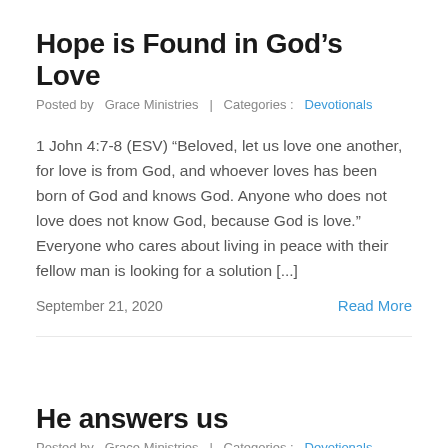Hope is Found in God’s Love
Posted by  Grace Ministries  |  Categories :  Devotionals
1 John 4:7-8 (ESV) “Beloved, let us love one another, for love is from God, and whoever loves has been born of God and knows God. Anyone who does not love does not know God, because God is love.” Everyone who cares about living in peace with their fellow man is looking for a solution [...]
September 21, 2020
Read More
He answers us
Posted by  Grace Ministries  |  Categories :  Devotionals